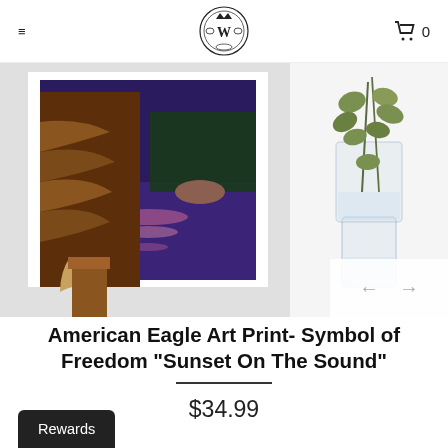≡  [W logo]  🛒 0
[Figure (photo): Product page showing two images side by side: left image is a painting of an American Eagle perched on a post at sunset over water with a forested background; right image shows a vase with eucalyptus stems in water. Navigation arrows overlay on bottom right of image area.]
American Eagle Art Print- Symbol of Freedom "Sunset On The Sound"
$34.99
Rewards